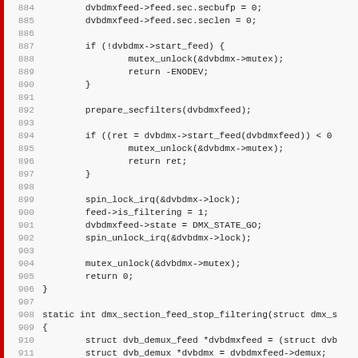[Figure (screenshot): Source code listing in C, lines 884-915, showing dvb demux section feed start/stop filtering functions with line numbers on the left and a red vertical bar on the far left margin.]